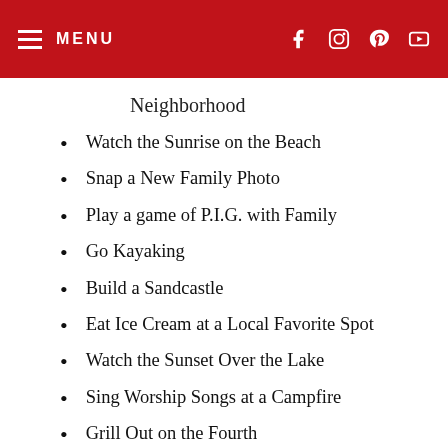MENU
Neighborhood
Watch the Sunrise on the Beach
Snap a New Family Photo
Play a game of P.I.G. with Family
Go Kayaking
Build a Sandcastle
Eat Ice Cream at a Local Favorite Spot
Watch the Sunset Over the Lake
Sing Worship Songs at a Campfire
Grill Out on the Fourth
Go Disc Golfing Somewhere New
Make Homemade Ice Cream